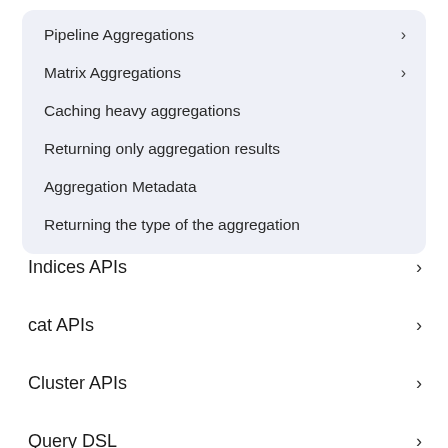Pipeline Aggregations
Matrix Aggregations
Caching heavy aggregations
Returning only aggregation results
Aggregation Metadata
Returning the type of the aggregation
Indices APIs
cat APIs
Cluster APIs
Query DSL
Scripting